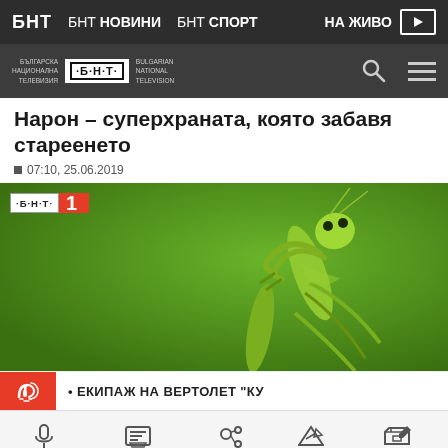БНТ  БНТ НОВИНИ  БНТ СПОРТ  НА ЖИВО
[Figure (logo): BNT (Българска Национална Телевизия / Bulgarian National Television) website header logo with search and menu icons]
Нарон – суперхраната, която забавя стареенето
07:10, 25.06.2019
[Figure (screenshot): BNT1 video thumbnail showing a green praying mantis on a green background, with BNT 1 logo overlay in top-left corner]
• ЕКИПАЖ НА ВЕРТОЛЕТ "КУ
ПОДКАСТИ  ПРОГРАМАТА  ЗА МЕДИИ  ЗА БНТ  НЕРЕДНОСТИ